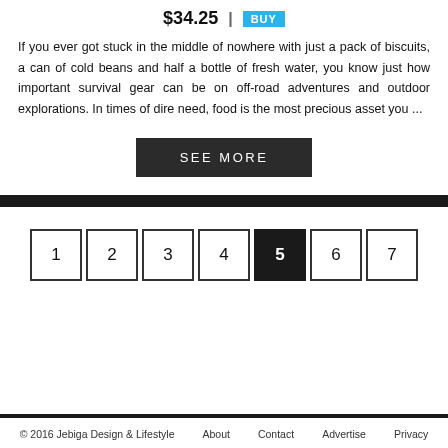$34.25 | BUY
If you ever got stuck in the middle of nowhere with just a pack of biscuits, a can of cold beans and half a bottle of fresh water, you know just how important survival gear can be on off-road adventures and outdoor explorations. In times of dire need, food is the most precious asset you ...
SEE MORE
1 2 3 4 5 6 7
© 2016 Jebiga Design & Lifestyle   About   Contact   Advertise   Privacy